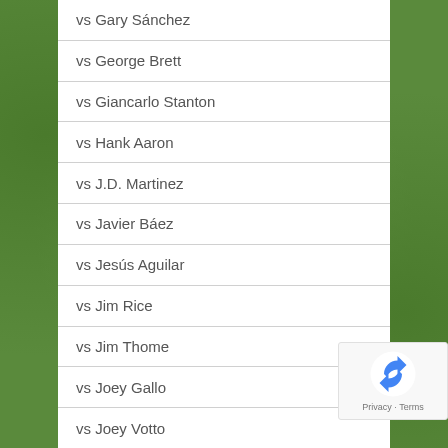vs Gary Sánchez
vs George Brett
vs Giancarlo Stanton
vs Hank Aaron
vs J.D. Martinez
vs Javier Báez
vs Jesús Aguilar
vs Jim Rice
vs Jim Thome
vs Joey Gallo
vs Joey Votto
[Figure (logo): reCAPTCHA badge with Privacy and Terms text]